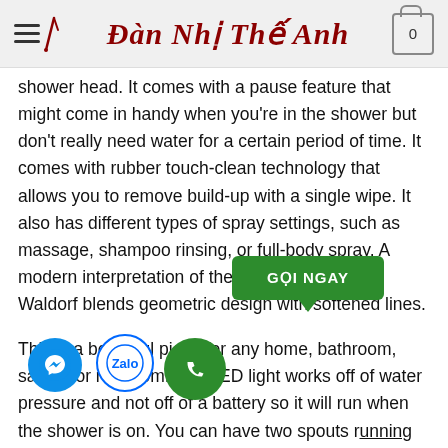Đàn Nhị Thế Anh
shower head. It comes with a pause feature that might come in handy when you're in the shower but don't really need water for a certain period of time. It comes with rubber touch-clean technology that allows you to remove build-up with a single wipe. It also has different types of spray settings, such as massage, shampoo rinsing, or full-body spray. A modern interpretation of the Art Deco style, the Waldorf blends geometric design with softened lines.
This is a beautiful piece for any home, bathroom, sauna, or rec room. The LED light works off of water pressure and not off of a battery so it will run when the shower is on. You can have two spouts running at the same time and the reason for that is to compromise water pressure. This package features a handheld shower head so it can follow you throughout your existing bath or shower area. It also comes with a level